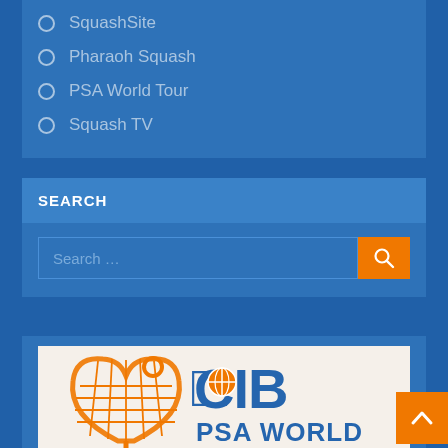SquashSite
Pharaoh Squash
PSA World Tour
Squash TV
SEARCH
Search ...
[Figure (logo): CIB PSA World logo with squash racket and ball icon in orange on beige background]